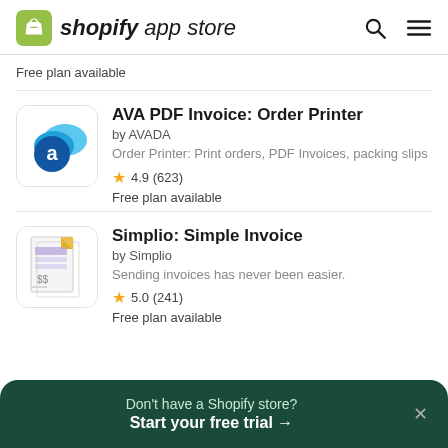shopify app store
Free plan available
AVA PDF Invoice: Order Printer
by AVADA
Order Printer: Print orders, PDF Invoices, packing slips
4.9 (623)
Free plan available
Simplio: Simple Invoice
by Simplio
Sending invoices has never been easier.
5.0 (241)
Free plan available
Don't have a Shopify store? Start your free trial →